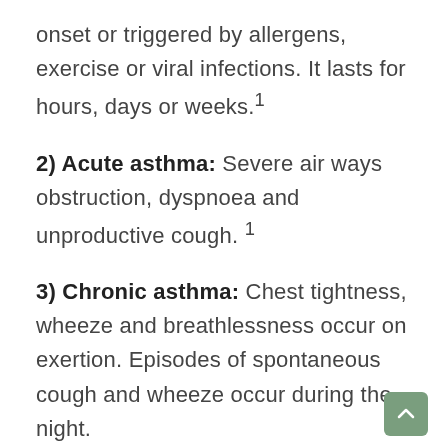onset or triggered by allergens, exercise or viral infections. It lasts for hours, days or weeks.¹
2) Acute asthma: Severe air ways obstruction, dyspnoea and unproductive cough. ¹
3) Chronic asthma: Chest tightness, wheeze and breathlessness occur on exertion. Episodes of spontaneous cough and wheeze occur during the night.